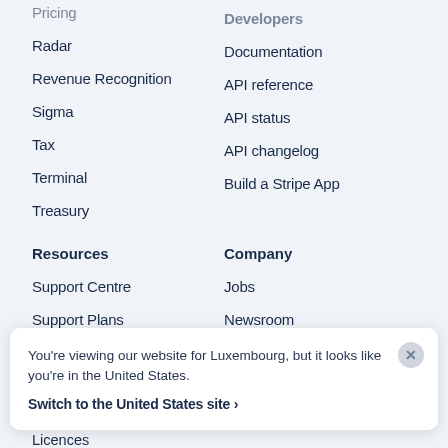Pricing
Radar
Revenue Recognition
Sigma
Tax
Terminal
Treasury
Developers
Documentation
API reference
API status
API changelog
Build a Stripe App
Resources
Company
Support Centre
Jobs
Support Plans
Newsroom
Guides
Stripe Press
You're viewing our website for Luxembourg, but it looks like you're in the United States.
Switch to the United States site ›
Licences